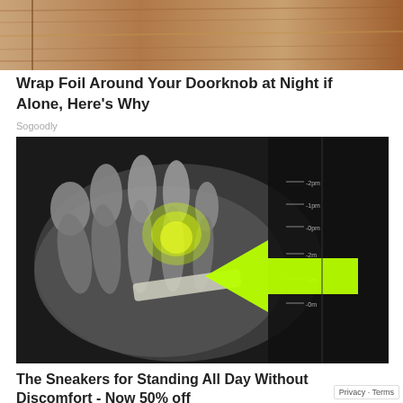[Figure (photo): Partial view of wooden door/surface in warm brown tones — top crop of doorknob article thumbnail]
Wrap Foil Around Your Doorknob at Night if Alone, Here's Why
Sogoodly
[Figure (photo): X-ray image of a human foot showing bones, with a bright yellow-green highlighted area near a toe joint and a large yellow-green arrow pointing to it, against a dark background with measurement markings]
The Sneakers for Standing All Day Without Discomfort - Now 50% off
Privacy · Terms